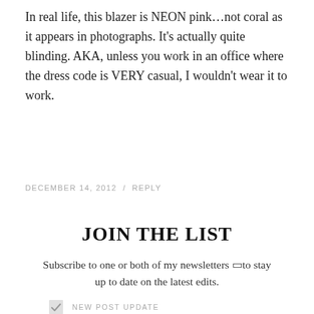In real life, this blazer is NEON pink…not coral as it appears in photographs. It's actually quite blinding. AKA, unless you work in an office where the dress code is VERY casual, I wouldn't wear it to work.
DECEMBER 14, 2012 / REPLY
JOIN THE LIST
Subscribe to one or both of my newsletters ⬜to stay up to date on the latest edits.
NEW POST UPDATE
WORKDAY READING
EMAIL ADDRESS